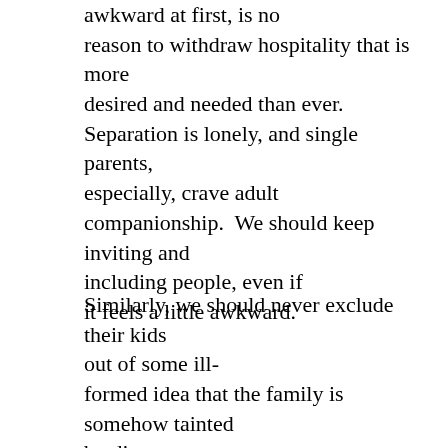awkward at first, is no reason to withdraw hospitality that is more desired and needed than ever. Separation is lonely, and single parents, especially, crave adult companionship.  We should keep inviting and including people, even if it feels a little awkward.
Similarly, we should never exclude their kids out of some ill-formed idea that the family is somehow tainted by divorce, or because we don't want to have to explain it to our own kids. We can remember to invite their kids along for Christmas...